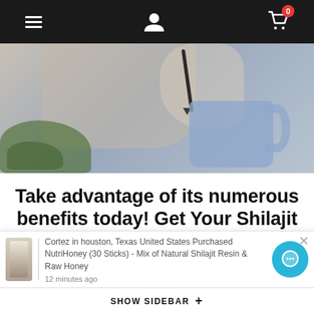Navigation bar with hamburger menu, user icon, and cart icon with badge 0
[Figure (photo): Blurred photo of a person dripping liquid from a dropper into a blue/lavender mug, with a green salad plate on the left side]
Take advantage of its numerous benefits today! Get Your Shilajit Today!
Cortez in houston, Texas United States Purchased NutriHoney (30 Sticks) - Mix of Natural Shilajit Resin & Raw Honey
12 minutes ago
SHOW SIDEBAR +